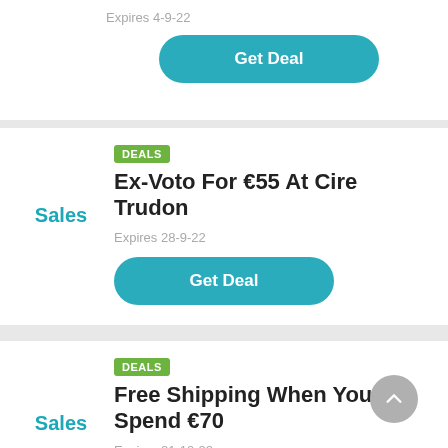Expires 4-9-22
Get Deal
DEALS
Ex-Voto For €55 At Cire Trudon
Sales
Expires 28-9-22
Get Deal
DEALS
Free Shipping When You Spend €70
Sales
Expires 21-10-22